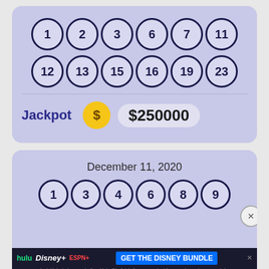[Figure (other): Lottery card showing 12 numbered balls in two rows: 1, 2, 3, 6, 7, 11 and 12, 13, 15, 16, 19, 23, with Jackpot $250000]
Jackpot  $250000
[Figure (other): Second lottery card showing date December 11, 2020 and partial row of balls: 1, 3, 4, 6, 8, 9]
December 11, 2020
[Figure (infographic): Advertisement banner for Disney Bundle featuring Hulu, Disney+, ESPN+ logos with CTA GET THE DISNEY BUNDLE. Fine print: Incl. Hulu (ad-supported) or Hulu (No Ads). Access content from each service separately. ©2021 Disney and its related entities]